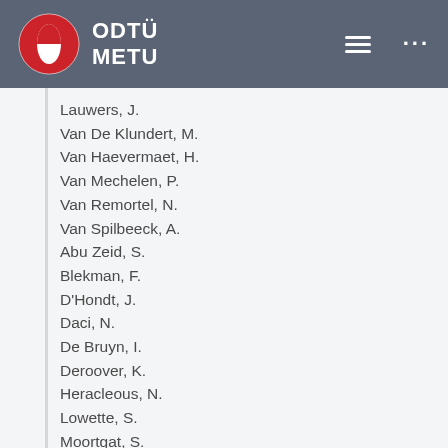ODTÜ METU
Lauwers, J.
Van De Klundert, M.
Van Haevermaet, H.
Van Mechelen, P.
Van Remortel, N.
Van Spilbeeck, A.
Abu Zeid, S.
Blekman, F.
D'Hondt, J.
Daci, N.
De Bruyn, I.
Deroover, K.
Heracleous, N.
Lowette, S.
Moortgat, S.
Moreels, L.
Olbrechts, A.
Python, Q.
Tavernier, S.
Van Doninck, W.
Van Mulders, P.
Van Parijs, I.
Brun, H.